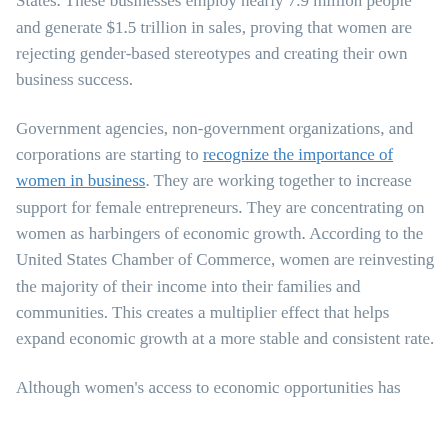ownership of more than 9.4 million businesses in the United States. These businesses employ nearly 7.9 million people and generate $1.5 trillion in sales, proving that women are rejecting gender-based stereotypes and creating their own business success.
Government agencies, non-government organizations, and corporations are starting to recognize the importance of women in business. They are working together to increase support for female entrepreneurs. They are concentrating on women as harbingers of economic growth. According to the United States Chamber of Commerce, women are reinvesting the majority of their income into their families and communities. This creates a multiplier effect that helps expand economic growth at a more stable and consistent rate.
Although women's access to economic opportunities has